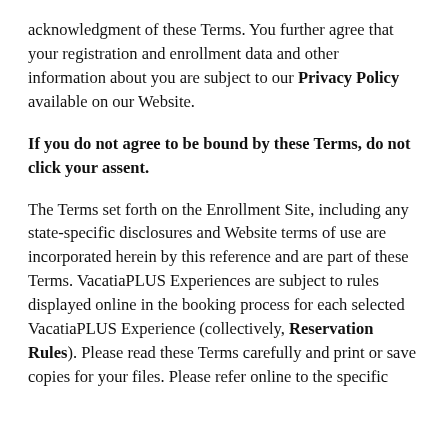acknowledgment of these Terms. You further agree that your registration and enrollment data and other information about you are subject to our Privacy Policy available on our Website.
If you do not agree to be bound by these Terms, do not click your assent.
The Terms set forth on the Enrollment Site, including any state-specific disclosures and Website terms of use are incorporated herein by this reference and are part of these Terms. VacatiaPLUS Experiences are subject to rules displayed online in the booking process for each selected VacatiaPLUS Experience (collectively, Reservation Rules). Please read these Terms carefully and print or save copies for your files. Please refer online to the specific